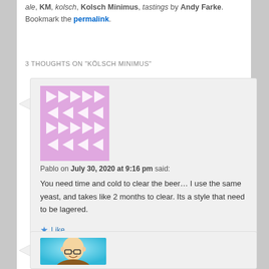ale, KM, kolsch, Kolsch Minimus, tastings by Andy Farke. Bookmark the permalink.
3 THOUGHTS ON "KÖLSCH MINIMUS"
Pablo on July 30, 2020 at 9:16 pm said: You need time and cold to clear the beer… I use the same yeast, and takes like 2 months to clear. Its a style that need to be lagered.
[Figure (illustration): Purple/pink geometric avatar with arrow pattern for user Pablo]
[Figure (illustration): Cartoon avatar of bald man with glasses on cyan/blue background, partially visible]